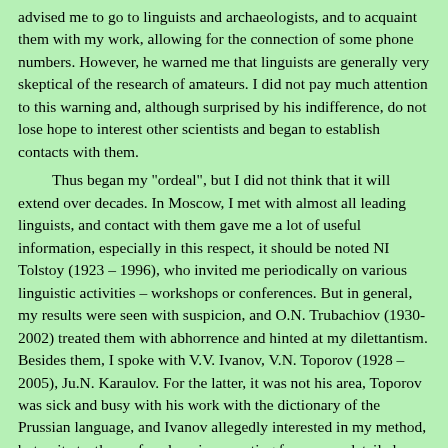advised me to go to linguists and archaeologists, and to acquaint them with my work, allowing for the connection of some phone numbers. However, he warned me that linguists are generally very skeptical of the research of amateurs. I did not pay much attention to this warning and, although surprised by his indifference, do not lose hope to interest other scientists and began to establish contacts with them.

Thus began my "ordeal", but I did not think that it will extend over decades. In Moscow, I met with almost all leading linguists, and contact with them gave me a lot of useful information, especially in this respect, it should be noted NI Tolstoy (1923 – 1996), who invited me periodically on various linguistic activities – workshops or conferences. But in general, my results were seen with suspicion, and O.N. Trubachiov (1930-2002) treated them with abhorrence and hinted at my dilettantism. Besides them, I spoke with V.V. Ivanov, V.N. Toporov (1928 – 2005), Ju.N. Karaulov. For the latter, it was not his area, Toporov was sick and busy with his work with the dictionary of the Prussian language, and Ivanov allegedly interested in my method, but quite tactless refused me in a meeting for a more detailed discussion. After that, I met with the archaeologist Slavic V.V. Sedov (1924 – 2004). Intrigued by my results, he asked me if I am already...